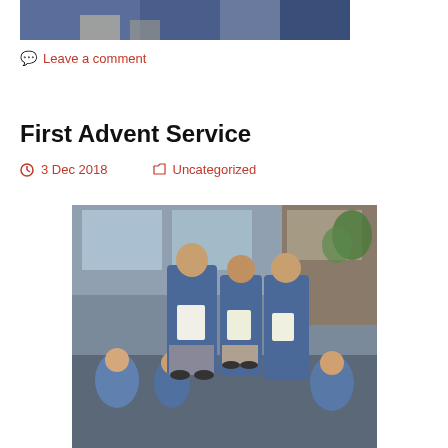[Figure (photo): Partial top photo showing students in blue school uniforms in a classroom setting]
💬 Leave a comment
First Advent Service
🕐 3 Dec 2018   📁 Uncategorized
[Figure (photo): Three boys in blue school uniforms standing and reading from papers during the First Advent Service, with other pupils seated on the floor around them in a classroom]